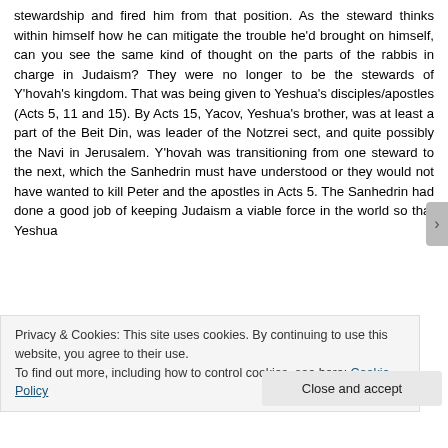stewardship and fired him from that position. As the steward thinks within himself how he can mitigate the trouble he'd brought on himself, can you see the same kind of thought on the parts of the rabbis in charge in Judaism? They were no longer to be the stewards of Y'hovah's kingdom. That was being given to Yeshua's disciples/apostles (Acts 5, 11 and 15). By Acts 15, Yacov, Yeshua's brother, was at least a part of the Beit Din, was leader of the Notzrei sect, and quite possibly the Navi in Jerusalem. Y'hovah was transitioning from one steward to the next, which the Sanhedrin must have understood or they would not have wanted to kill Peter and the apostles in Acts 5. The Sanhedrin had done a good job of keeping Judaism a viable force in the world so that Yeshua
Privacy & Cookies: This site uses cookies. By continuing to use this website, you agree to their use.
To find out more, including how to control cookies, see here: Cookie Policy
Close and accept